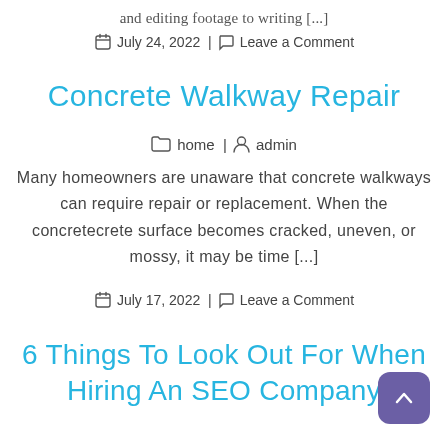and editing footage to writing [...]
📅 July 24, 2022 | 💬 Leave a Comment
Concrete Walkway Repair
🗂 home | 👤 admin
Many homeowners are unaware that concrete walkways can require repair or replacement. When the concretecrete surface becomes cracked, uneven, or mossy, it may be time [...]
📅 July 17, 2022 | 💬 Leave a Comment
6 Things To Look Out For When Hiring An SEO Company